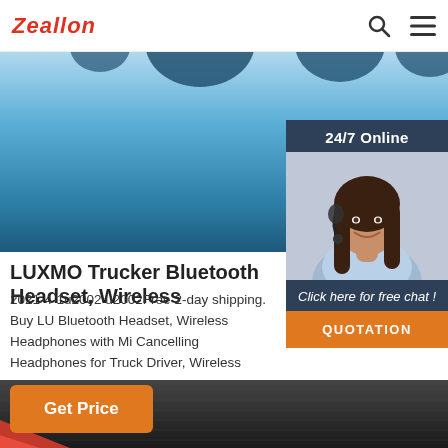Zeallon
[Figure (photo): Hero banner with blue gradient background and dark circular shapes at top]
[Figure (photo): 24/7 Online chat widget with photo of smiling woman with headset, 'Click here for free chat!' text and orange QUOTATION button]
LUXMO Trucker Bluetooth Headset, Wireless
2021-4-1u2002·u2002Free 2-day shipping. Buy LUXMO Trucker Bluetooth Headset, Wireless Headphones with Mi Cancelling Headphones for Truck Driver, Wireless Earpiece with Mic for Skype, Call ...
Get Price
[Figure (photo): Dark carbon fiber / textured background strip at bottom of page with red accent on left]